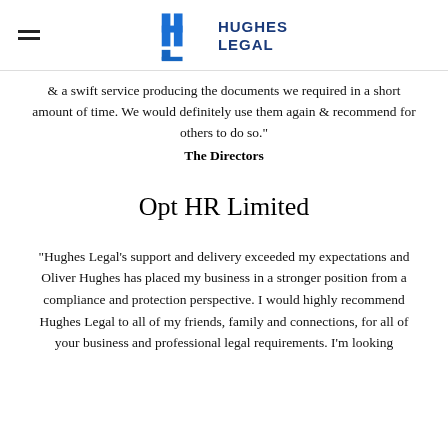Hughes Legal
& a swift service producing the documents we required in a short amount of time. We would definitely use them again & recommend for others to do so."
The Directors
Opt HR Limited
"Hughes Legal's support and delivery exceeded my expectations and Oliver Hughes has placed my business in a stronger position from a compliance and protection perspective. I would highly recommend Hughes Legal to all of my friends, family and connections, for all of your business and professional legal requirements. I'm looking